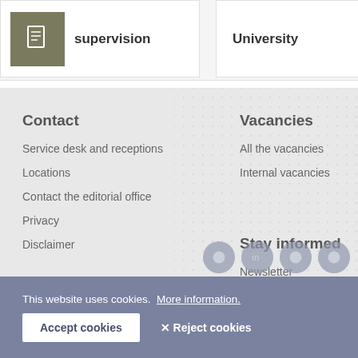supervision
University
Contact
Service desk and receptions
Locations
Contact the editorial office
Privacy
Disclaimer
Vacancies
All the vacancies
Internal vacancies
Emergency
Alarm numbers
Reporting unsafe situations
Stay informed
Newsletter
This website uses cookies.  More information.
Accept cookies
✕ Reject cookies